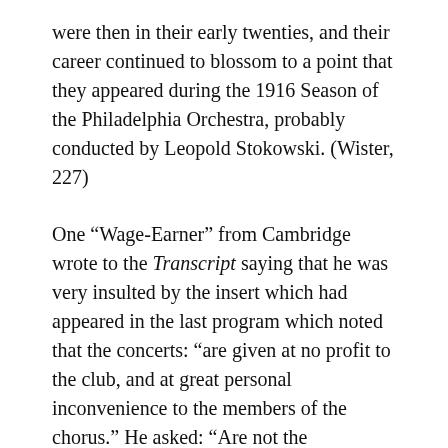were then in their early twenties, and their career continued to blossom to a point that they appeared during the 1916 Season of the Philadelphia Orchestra, probably conducted by Leopold Stokowski. (Wister, 227)
One “Wage-Earner” from Cambridge wrote to the Transcript saying that he was very insulted by the insert which had appeared in the last program which noted that the concerts: “are given at no profit to the club, and at great personal inconvenience to the members of the chorus.” He asked: “Are not the conductor, orchestra and many members of the chorus wage-earners? ” (Transcript, undated)